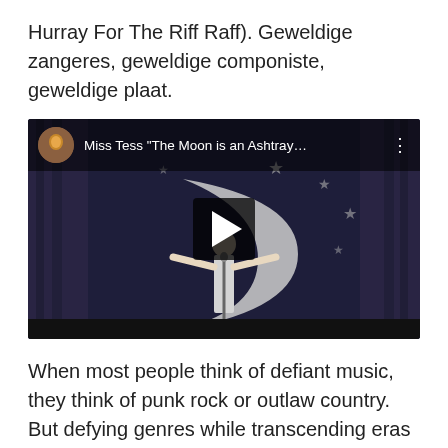Hurray For The Riff Raff). Geweldige zangeres, geweldige componiste, geweldige plaat.
[Figure (screenshot): YouTube video embed showing Miss Tess performing on stage in front of a crescent moon backdrop with stars, wearing a white outfit with arms outstretched. Video title reads: Miss Tess "The Moon is an Ashtray…" with a play button overlay.]
When most people think of defiant music, they think of punk rock or outlaw country. But defying genres while transcending eras and resisting clichés is hard to pin down when it comes to artistry-unless you're talking about Miss